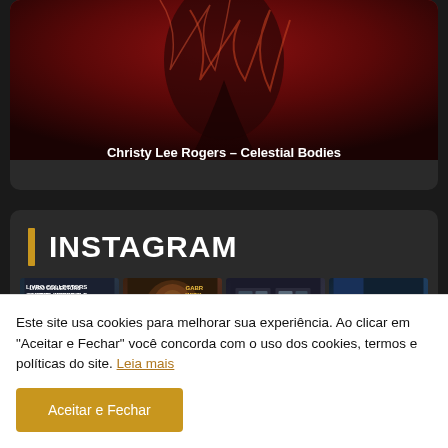[Figure (photo): Dark atmospheric photo card with a figure against a red/dark background, titled 'Christy Lee Rogers – Celestial Bodies']
Christy Lee Rogers – Celestial Bodies
INSTAGRAM
[Figure (photo): Four Instagram thumbnail images in a row showing: book cover for Livro Collectors Gabriel Wickbold, a close-up face portrait, a gallery exhibition view, and an interior architectural space]
Este site usa cookies para melhorar sua experiência. Ao clicar em "Aceitar e Fechar" você concorda com o uso dos cookies, termos e políticas do site. Leia mais
Aceitar e Fechar